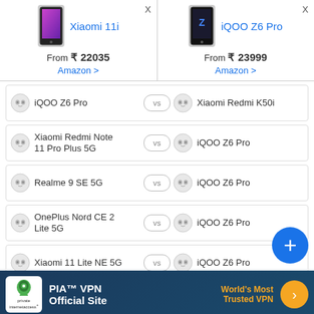Xiaomi 11i | From ₹ 22035 | Amazon >
iQOO Z6 Pro | From ₹ 23999 | Amazon >
iQOO Z6 Pro vs Xiaomi Redmi K50i
Xiaomi Redmi Note 11 Pro Plus 5G vs iQOO Z6 Pro
Realme 9 SE 5G vs iQOO Z6 Pro
OnePlus Nord CE 2 Lite 5G vs iQOO Z6 Pro
Xiaomi 11 Lite NE 5G vs iQOO Z6 Pro
OnePlus Nord 2T vs iQOO Z6 Pro
[Figure (infographic): PIA VPN advertisement banner - World's Most Trusted VPN]